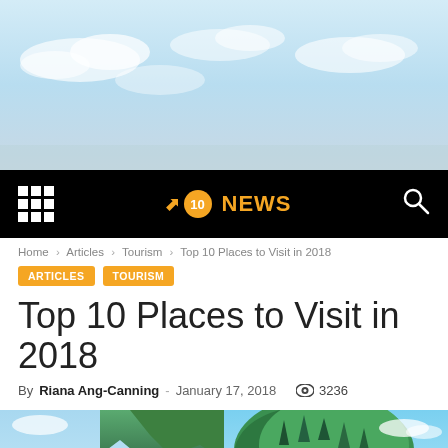[Figure (photo): Hero image: sky with clouds, light blue background]
Navigation bar with grid menu icon, Top10 logo with arrow and badge, NEWS text in orange, and search icon
Home › Articles › Tourism › Top 10 Places to Visit in 2018
ARTICLES   TOURISM
Top 10 Places to Visit in 2018
By Riana Ang-Canning - January 17, 2018  👁 3236
[Figure (photo): Two travel destination photos side by side: left shows a coastal town with green cliffs and blue sea, right shows a tropical island with lush green trees and a wooden pier]